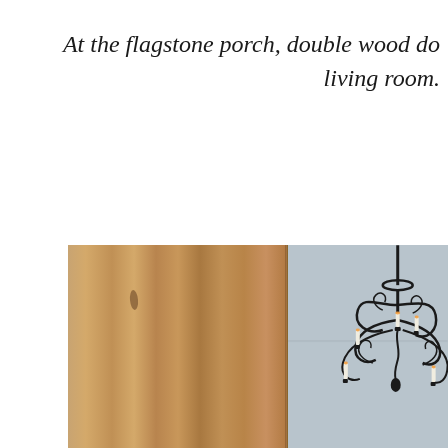At the flagstone porch, double wood do living room.
[Figure (photo): Left half shows wooden double doors with natural wood grain texture and a dark knot. Right half shows a black wrought iron chandelier with white candles against a gray-blue wall.]